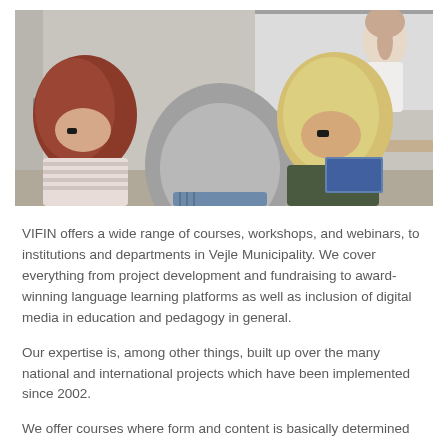[Figure (photo): A classroom scene viewed from behind: three adult students (one with red hair, one grey-haired man, one blonde woman) face a female instructor standing at a whiteboard at the front of the room.]
VIFIN offers a wide range of courses, workshops, and webinars, to institutions and departments in Vejle Municipality. We cover everything from project development and fundraising to award-winning language learning platforms as well as inclusion of digital media in education and pedagogy in general.
Our expertise is, among other things, built up over the many national and international projects which have been implemented since 2002.
We offer courses where form and content is basically determined